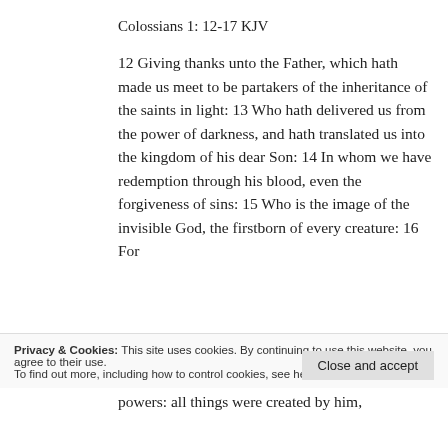Colossians 1: 12-17 KJV
12 Giving thanks unto the Father, which hath made us meet to be partakers of the inheritance of the saints in light: 13 Who hath delivered us from the power of darkness, and hath translated us into the kingdom of his dear Son: 14 In whom we have redemption through his blood, even the forgiveness of sins: 15 Who is the image of the invisible God, the firstborn of every creature: 16 For
Privacy & Cookies: This site uses cookies. By continuing to use this website, you agree to their use.
To find out more, including how to control cookies, see here: Cookie Policy
Close and accept
powers: all things were created by him, and for him were all things created; for all